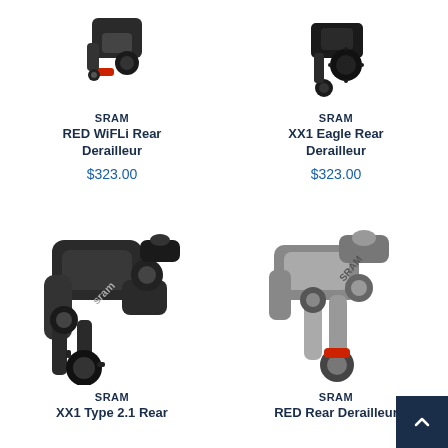[Figure (photo): SRAM RED WiFLi Rear Derailleur product photo, small top image, dark derailleur with red accent]
SRAM
RED WiFLi Rear Derailleur
$323.00
[Figure (photo): SRAM XX1 Eagle Rear Derailleur product photo, small top image, black Eagle derailleur with toothed pulley]
SRAM
XX1 Eagle Rear Derailleur
$323.00
[Figure (photo): SRAM XX1 Type 2.1 Rear Derailleur large product photo, dark grey/black derailleur]
SRAM
XX1 Type 2.1 Rear
[Figure (photo): SRAM RED Rear Derailleur large product photo, silver and grey derailleur with red accent]
SRAM
RED Rear Derailleur